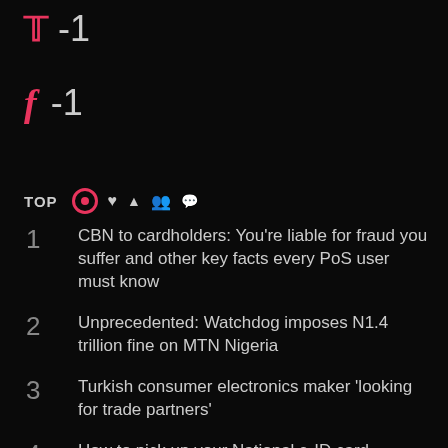Twitter -1
f -1
TOP
1 CBN to cardholders: You're liable for fraud you suffer and other key facts every PoS user must know
2 Unprecedented: Watchdog imposes N1.4 trillion fine on MTN Nigeria
3 Turkish consumer electronics maker 'looking for trade partners'
4 How to pick up your National e-ID card
5 Blackberry wagers “best keyboard experience” on Blackberry Q20
6 Get Facebook without Internet on MTN Nigeria